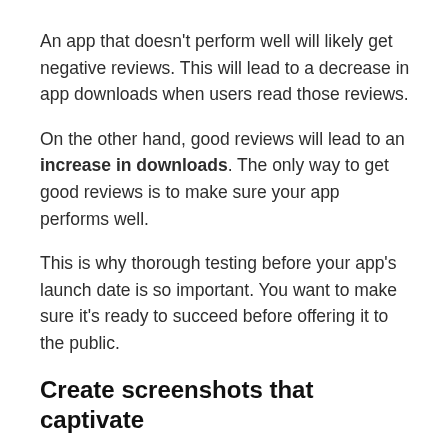An app that doesn't perform well will likely get negative reviews. This will lead to a decrease in app downloads when users read those reviews.
On the other hand, good reviews will lead to an increase in downloads. The only way to get good reviews is to make sure your app performs well.
This is why thorough testing before your app's launch date is so important. You want to make sure it's ready to succeed before offering it to the public.
Create screenshots that captivate
Creating app screenshots is a vital ASO strategy for two reasons: